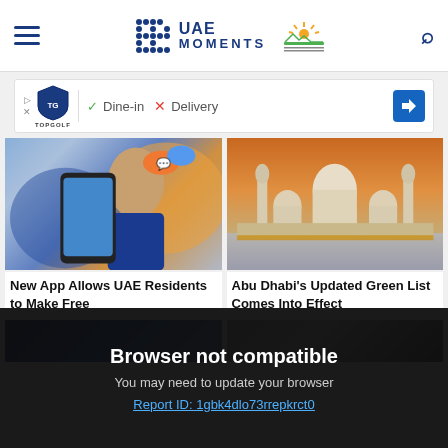UAE Moments
[Figure (screenshot): TopGolf ad banner with Dine-in checkmark and Delivery X mark]
[Figure (photo): Woman smiling holding a smartphone with app interface and emoji bubbles]
[Figure (photo): Abu Dhabi Grand Mosque at sunset with golden dome reflections]
New App Allows UAE Residents to Make Free
Abu Dhabi's Updated Green List Comes Into Effect
[Figure (photo): Partial image bottom left]
[Figure (photo): Partial image bottom right]
Browser not compatible
You may need to update your browser
Report ID: 1gbk4dlo73rrepkrct0